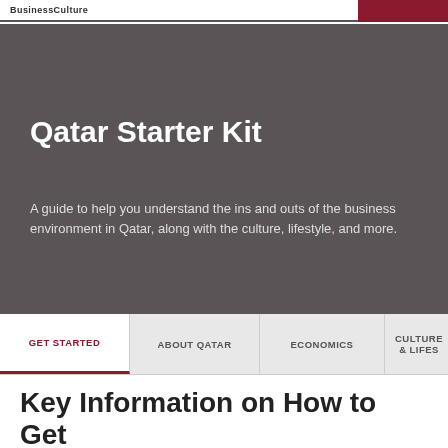BusinessCulture
Qatar Starter Kit
A guide to help you understand the ins and outs of the business environment in Qatar, along with the culture, lifestyle, and more.
GET STARTED
ABOUT QATAR
ECONOMICS
CULTURE & LIFES
Key Information on How to Get Started